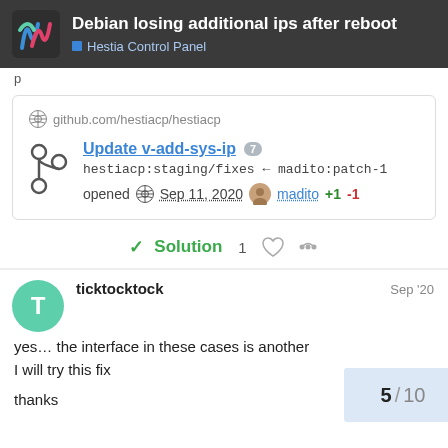Debian losing additional ips after reboot — Hestia Control Panel
p
[Figure (screenshot): GitHub pull request card showing: github.com/hestiacp/hestiacp — Update v-add-sys-ip (7 comments) — hestiacp:staging/fixes ← madito:patch-1 — opened Sep 11, 2020 by madito +1 -1]
✓ Solution   1
ticktocktock   Sep '20
yes… the interface in these cases is another
I will try this fix

thanks
5 / 10